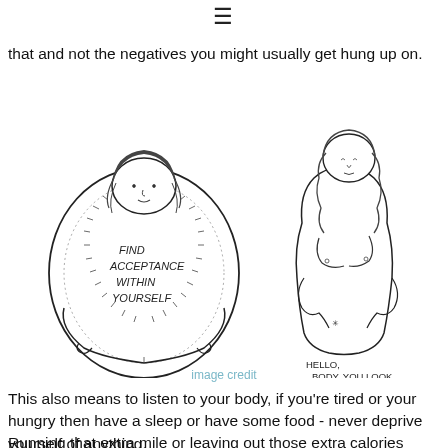≡
that and not the negatives you might usually get hung up on.
[Figure (illustration): Two hand-drawn illustrations: left shows a round-bodied woman hugging herself with text inside her belly reading 'FIND ACCEPTANCE WITHIN YOURSELF'; right shows a curvy woman with text below reading 'HELLO, BODY. YOU LOOK LOVELY TODAY, AND I PROMISE TO TREAT YOU WITH LOVE.']
image credit
This also means to listen to your body, if you're tired or your hungry then have a sleep or have some food - never deprive yourself of anything.
Running that extra mile or leaving out those extra calories